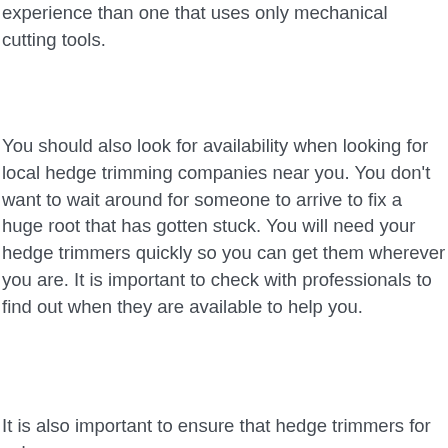experience than one that uses only mechanical cutting tools.
You should also look for availability when looking for local hedge trimming companies near you. You don't want to wait around for someone to arrive to fix a huge root that has gotten stuck. You will need your hedge trimmers quickly so you can get them wherever you are. It is important to check with professionals to find out when they are available to help you.
It is also important to ensure that hedge trimmers for sale